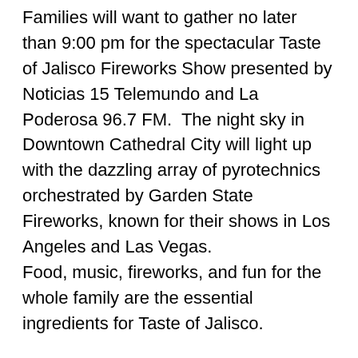Families will want to gather no later than 9:00 pm for the spectacular Taste of Jalisco Fireworks Show presented by Noticias 15 Telemundo and La Poderosa 96.7 FM.  The night sky in Downtown Cathedral City will light up with the dazzling array of pyrotechnics orchestrated by Garden State Fireworks, known for their shows in Los Angeles and Las Vegas.
Food, music, fireworks, and fun for the whole family are the essential ingredients for Taste of Jalisco.
Major sponsors include Southern California Edison, Noticias 15 Telemundo, La Poderosa 96.7 FM, U.S. Bank, Volkswagen of Palm Springs, City of Cathedral City, Burke Williams & Sorensen LLP, El